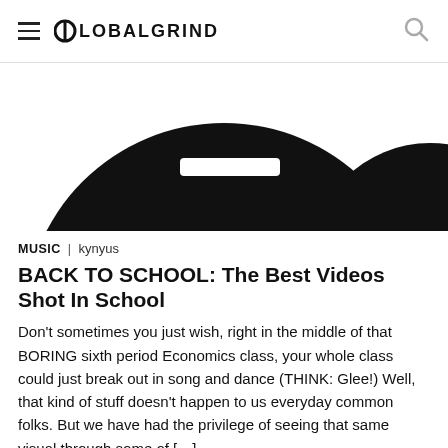GLOBALGRIND
[Figure (photo): Partial black and white circular shapes on white background, top portion of a music-related image]
MUSIC | kynyus
BACK TO SCHOOL: The Best Videos Shot In School
Don't sometimes you just wish, right in the middle of that BORING sixth period Economics class, your whole class could just break out in song and dance (THINK: Glee!) Well, that kind of stuff doesn't happen to us everyday common folks. But we have had the privilege of seeing that same visual through some of […]
[Figure (photo): Partial black and white circular shapes on white background, bottom portion of a music-related image]